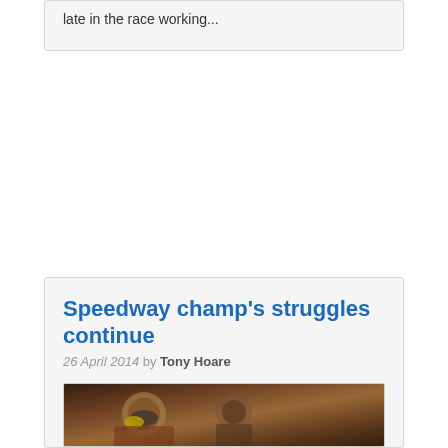late in the race working...
Speedway champ's struggles continue
26 April 2014 by Tony Hoare
[Figure (photo): Photo of speedway racing, showing a rider with helmet and gear]